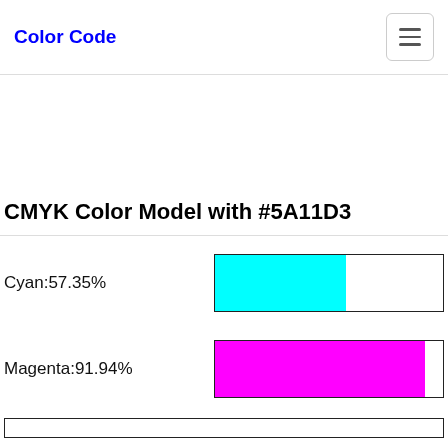Color Code
CMYK Color Model with #5A11D3
Cyan:57.35%
[Figure (bar-chart): Cyan bar]
Magenta:91.94%
[Figure (bar-chart): Magenta bar]